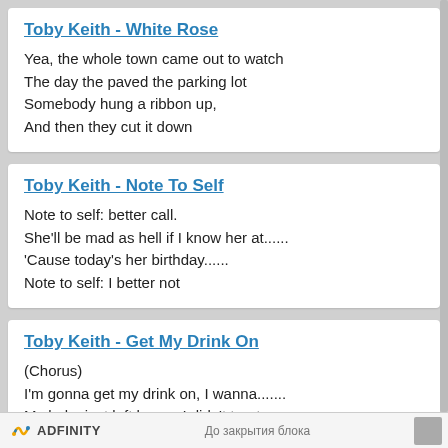Toby Keith - White Rose
Yea, the whole town came out to watch
The day the paved the parking lot
Somebody hung a ribbon up,
And then they cut it down
Toby Keith - Note To Self
Note to self: better call.
She'll be mad as hell if I know her at......
'Cause today's her birthday......
Note to self: I better not
Toby Keith - Get My Drink On
(Chorus)
I'm gonna get my drink on, I wanna.......
My baby just left home, I didn't treat.......
Right here's where I belong, I'm.......
ADFINITY   До закрытия блока